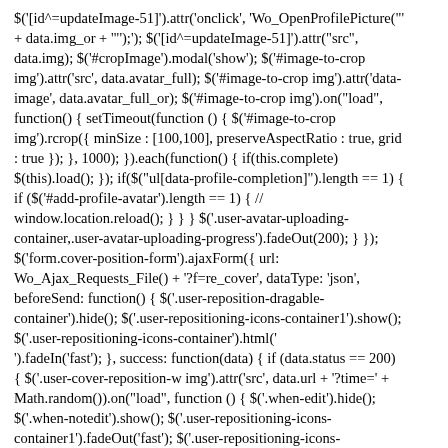$('[id^=updateImage-51]').attr('onclick', 'Wo_OpenProfilePicture("' + data.img_or + "'");'); $('[id^=updateImage-51]').attr("src", data.img); $('#cropImage').modal('show'); $('#image-to-crop img').attr('src', data.avatar_full); $('#image-to-crop img').attr('data-image', data.avatar_full_or); $('#image-to-crop img').on("load", function() { setTimeout(function () { $('#image-to-crop img').rcrop({ minSize : [100,100], preserveAspectRatio : true, grid : true }); }, 1000); }).each(function() { if(this.complete) $(this).load(); }); if($("ul[data-profile-completion]").length == 1) { if ($('#add-profile-avatar').length == 1) { // window.location.reload(); } } } $('.user-avatar-uploading-container,.user-avatar-uploading-progress').fadeOut(200); } }); $('form.cover-position-form').ajaxForm({ url: Wo_Ajax_Requests_File() + '?f=re_cover', dataType: 'json', beforeSend: function() { $('.user-reposition-dragable-container').hide(); $('.user-repositioning-icons-container1').show(); $('.user-repositioning-icons-container').html(' ').fadeIn('fast'); }, success: function(data) { if (data.status == 200) { $('.user-cover-reposition-w img').attr('src', data.url + '?time=' + Math.random()).on("load", function () { $('.when-edit').hide(); $('.when-notedit').show(); $('.user-repositioning-icons-container1').fadeOut('fast'); $('.user-repositioning-icons-container').fadeOut('fast').html(''); $('.user-cover-reposition-w').show(); $('.user-reposition-container').hide().find('img').css('top', 0); $('.cover-resize-